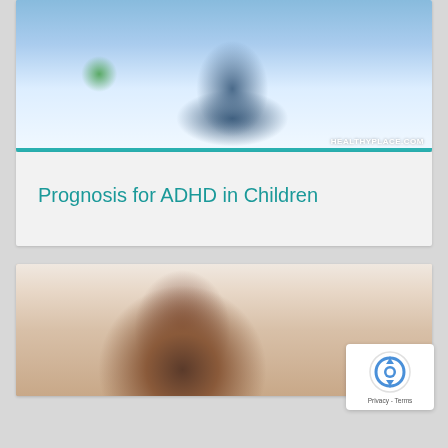[Figure (photo): Child in school uniform writing with pencil, looking tired or distracted, with colorful classroom items in background. Watermark: HEALTHYPLACE.COM]
Prognosis for ADHD in Children
[Figure (photo): Adult man leaning over helping a child with schoolwork, blurred background]